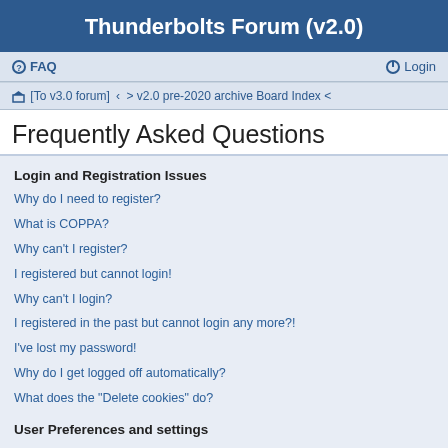Thunderbolts Forum (v2.0)
FAQ  Login
[To v3.0 forum] ‹ > v2.0 pre-2020 archive Board Index <
Frequently Asked Questions
Login and Registration Issues
Why do I need to register?
What is COPPA?
Why can't I register?
I registered but cannot login!
Why can't I login?
I registered in the past but cannot login any more?!
I've lost my password!
Why do I get logged off automatically?
What does the "Delete cookies" do?
User Preferences and settings
How do I change my settings?
How do I prevent my username appearing in the online user listings?
The times are not correct!
I changed the timezone and the time is still wrong!
My language is not in the list!
What are the images next to my username?